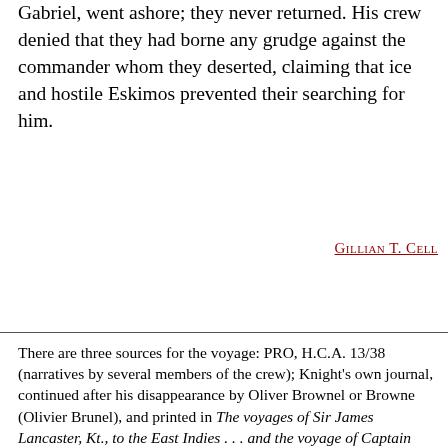Gabriel, went ashore; they never returned. His crew denied that they had borne any grudge against the commander whom they deserted, claiming that ice and hostile Eskimos prevented their searching for him.
Gillian T. Cell
There are three sources for the voyage: PRO, H.C.A. 13/38 (narratives by several members of the crew); Knight's own journal, continued after his disappearance by Oliver Brownel or Browne (Olivier Brunel), and printed in The voyages of Sir James Lancaster, Kt., to the East Indies . . . and the voyage of Captain John Knight (1606) to seek the North-West Passage, ed. C. R. Markham (Hakluyt Soc., 1st ser., LVI, 1877); and an abridged version of the journal in Purchas, Pilgrimes, XIV (1905–7), 353–65. DNB. Dodge, Northwest by sea. The first letter book of the East India Company, ed. G. Birdwood and W. Foster (London,